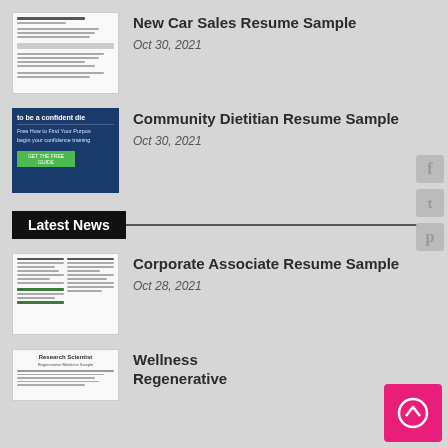[Figure (screenshot): Thumbnail of a resume document]
New Car Sales Resume Sample
Oct 30, 2021
[Figure (screenshot): Dark blue ad thumbnail with text 'to be a confident die' and 'Free How to Find Your Purpose begin your confidence training']
Community Dietitian Resume Sample
Oct 30, 2021
Latest News
[Figure (screenshot): Thumbnail of a corporate resume document with two columns]
Corporate Associate Resume Sample
Oct 28, 2021
[Figure (screenshot): Thumbnail of a Research Scientist resume]
Wellness Regenerative